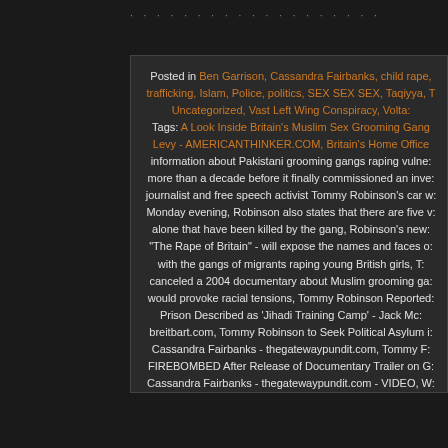Posted in Ben Garrison, Cassandra Fairbanks, child rape, trafficking, Islam, Police, politics, SEX SEX SEX, Taqiyya, Uncategorized, Vast Left Wing Conspiracy, Volta... Tags: A Look Inside Britain's Muslim Sex Grooming Gang Levy - AMERICANTHINKER.COM, Britain's Home Office information about Pakistani grooming gangs raping vulne... more than a decade before it finally commissioned an inve... journalist and free speech activist Tommy Robinson's car w... Monday evening, Robinson also states that there are five w... alone that have been killed by the gang, Robinson's new... "The Rape of Britain" - will expose the names and faces o... with the gangs of migrants raping young British girls, T... canceled a 2004 documentary about Muslim grooming ga... would provoke racial tensions, Tommy Robinson Reported... Prison Described as 'Jihadi Training Camp' - Jack Mc... breitbart.com, Tommy Robinson to Seek Political Asylum i... Cassandra Fairbanks - thegatewaypundit.com, Tommy F... FIREBOMBED After Release of Documentary Trailer on G... Cassandra Fairbanks - thegatewaypundit.com - VIDEO, W... With Baseball Bat While Parked Outside House Tommy... Protecting - Cassandra Fairbank - thegatewaypundit.c... Leave a Comment »